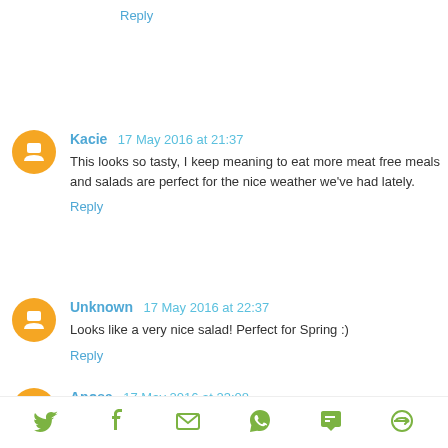Reply
Kacie  17 May 2016 at 21:37
This looks so tasty, I keep meaning to eat more meat free meals and salads are perfect for the nice weather we've had lately.
Reply
Unknown  17 May 2016 at 22:37
Looks like a very nice salad! Perfect for Spring :)
Reply
Anosa  17 May 2016 at 23:08
I didn't know it's was vegetarian week but regardless I
[Figure (infographic): Social sharing footer bar with icons: Twitter (bird), Facebook (f), Email (envelope), WhatsApp (phone), SMS (speech bubble with sms), and another share icon]